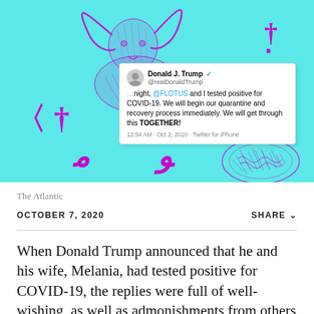[Figure (illustration): Cyan/turquoise background with magenta decorative illustration featuring a ram/bighorn sheep at top center-left, a plate of food at right, Arabic or decorative calligraphic symbols in magenta scattered around (top-right, left-center, bottom-center), and an embedded screenshot of a Donald Trump tweet about testing positive for COVID-19.]
[Figure (screenshot): Tweet by Donald J. Trump (@realDonaldTrump): 'Tonight, @FLOTUS and I tested positive for COVID-19. We will begin our quarantine and recovery process immediately. We will get through this TOGETHER!' 12:54 AM · Oct 2, 2020 · Twitter for iPhone]
The Atlantic
OCTOBER 7, 2020    SHARE
When Donald Trump announced that he and his wife, Melania, had tested positive for COVID-19, the replies were full of well-wishing, as well as admonishments from others for not being careful.